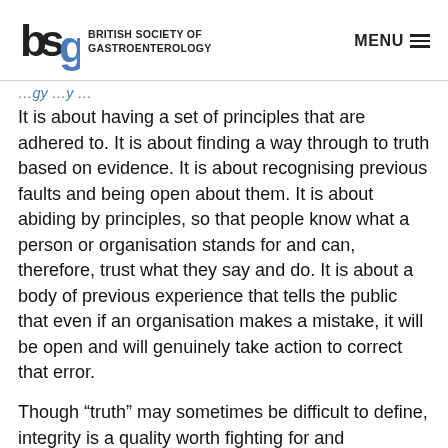British Society of Gastroenterology | MENU
It is about having a set of principles that are adhered to. It is about finding a way through to truth based on evidence. It is about recognising previous faults and being open about them. It is about abiding by principles, so that people know what a person or organisation stands for and can, therefore, trust what they say and do. It is about a body of previous experience that tells the public that even if an organisation makes a mistake, it will be open and will genuinely take action to correct that error.
Though “truth” may sometimes be difficult to define, integrity is a quality worth fighting for and preserving.
This means you. This means us. This means everyone